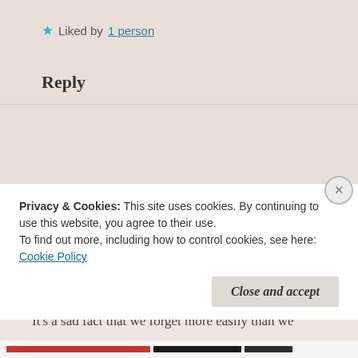★ Liked by 1 person
Reply
Osyth   May 29, 2016 at 2:06 pm
It's a sad fact that we forget more easily than we
Privacy & Cookies: This site uses cookies. By continuing to use this website, you agree to their use.
To find out more, including how to control cookies, see here: Cookie Policy
Close and accept